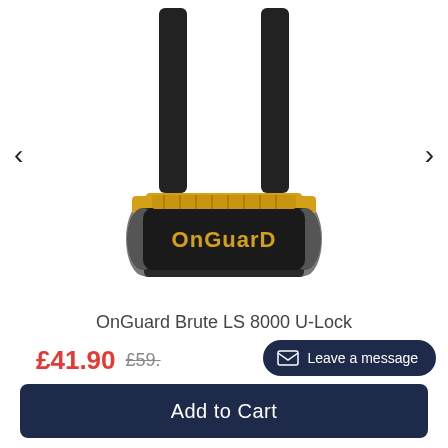[Figure (photo): OnGuard Brute LS 8000 U-Lock product photo: a bicycle U-lock with black shackle arms and a yellow/black body with 'OnGuard' branding, photographed on white background with left and right navigation arrows.]
OnGuard Brute LS 8000 U-Lock
£41.90 £59.
Leave a message
Add to Cart